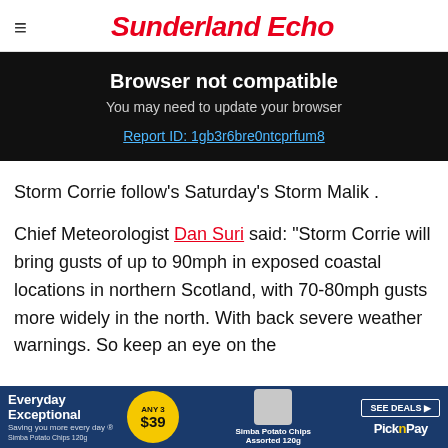Sunderland Echo
Browser not compatible
You may need to update your browser
Report ID: 1gb3r6bre0ntcprfum8
Storm Corrie follow's Saturday's Storm Malik .
Chief Meteorologist Dan Suri said: “Storm Corrie will bring gusts of up to 90mph in exposed coastal locations in northern Scotland, with 70-80mph gusts more widely in the north. With back [ad overlay] severe weather warnings. So keep an eye on the
[Figure (advertisement): Pick n Pay Everyday Exceptional advertisement banner showing Any 3 for $39 deal with Simba Potato Chips Assorted 120g]